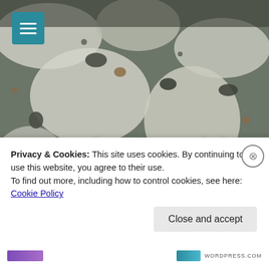[Figure (photo): Close-up photo of lichen-covered rock surface with mottled white, grey, and brown tones serving as a website hero background image]
Required Writing
JUST ABOUT EVERYTHING SUBJECTIVELY
Privacy & Cookies: This site uses cookies. By continuing to use this website, you agree to their use.
To find out more, including how to control cookies, see here: Cookie Policy
Close and accept